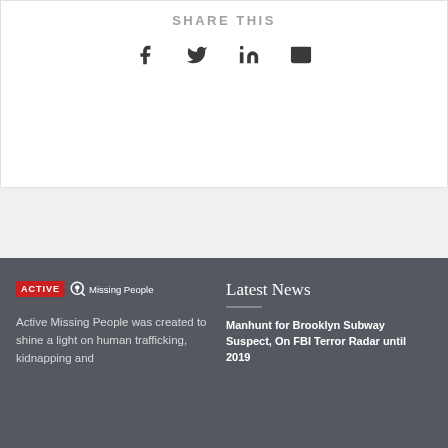SHARE THIS
[Figure (illustration): Social share icons: Facebook, Twitter, LinkedIn, Email]
[Figure (logo): Active Missing People logo with red ACTIVE badge and magnifying glass icon]
Active Missing People was created to shine a light on human trafficking, kidnapping and
Latest News
Manhunt for Brooklyn Subway Suspect, On FBI Terror Radar until 2019